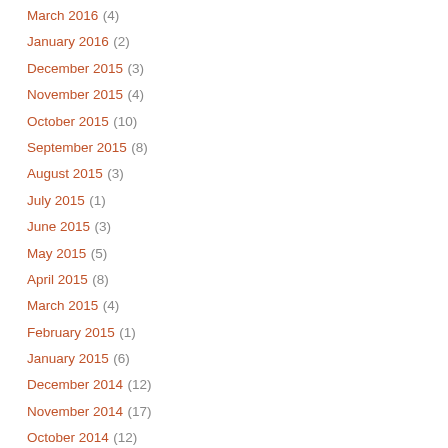March 2016 (4)
January 2016 (2)
December 2015 (3)
November 2015 (4)
October 2015 (10)
September 2015 (8)
August 2015 (3)
July 2015 (1)
June 2015 (3)
May 2015 (5)
April 2015 (8)
March 2015 (4)
February 2015 (1)
January 2015 (6)
December 2014 (12)
November 2014 (17)
October 2014 (12)